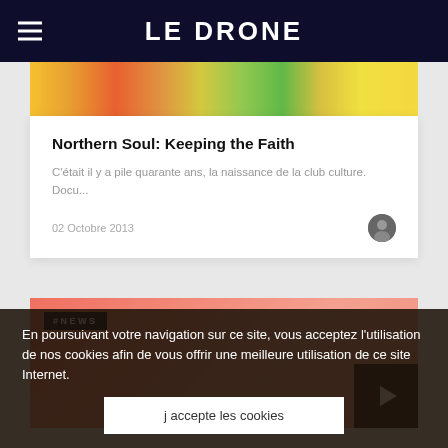LE DRONE
[Figure (photo): Colorful record labels / music imagery at top of article card]
Northern Soul: Keeping the Faith
C'était il y a pile quarante ans, la naissance de la club culture. Docu...
02 Octobre 2013
[Figure (photo): Pink/orange abstract background with #NEWS tag overlay]
En poursuivant votre navigation sur ce site, vous acceptez l'utilisation de nos cookies afin de vous offrir une meilleure utilisation de ce site Internet.
j accepte les cookies